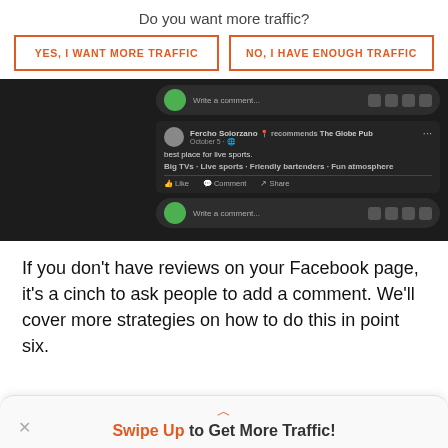Do you want more traffic?
YES, I WANT MORE TRAFFIC
NO, I HAVE ENOUGH TRAFFIC
[Figure (screenshot): A Facebook dark-mode screenshot showing a recommendation post by Fercho Solorzano recommending The Globe Pub on October 5, with text 'best place for live sports.' and tags 'Big TVs · Live sports · Friendly bartenders · Fun atmosphere', with Like, Comment, Share actions and comment input bars.]
If you don't have reviews on your Facebook page, it's a cinch to ask people to add a comment. We'll cover more strategies on how to do this in point six.
Swipe Up to Get More Traffic!